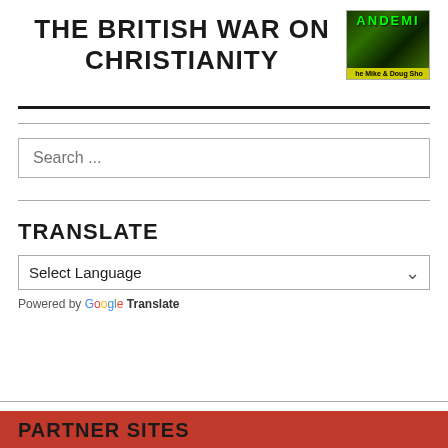THE BRITISH WAR ON CHRISTIANITY
[Figure (photo): Thumbnail image with green/dark background showing 'ANDEMI' text at top in green letters, and 'he Mike & Doug Sho' text on yellow bar at bottom]
Search ...
TRANSLATE
Select Language
Powered by Google Translate
PARTNER SITES